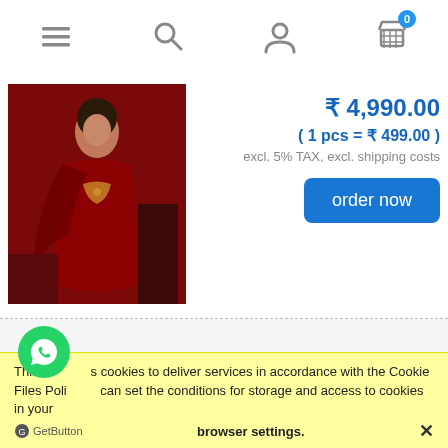[Figure (screenshot): Mobile e-commerce website navigation bar with hamburger menu, search, user, and cart (0 items) icons]
[Figure (photo): Product photo of a red embroidered Indian salwar suit/dress material worn by a woman model against a dark red background]
₹ 4,990.00
( 1 pcs = ₹ 499.00 )
excl. 5% TAX, excl. shipping costs
order now
Romani Mahroof Soft Cotton Dress Material ( 10 Pcs Catalog )
[Figure (photo): Partial product image for Romani Mahroof Soft Cotton Dress Material catalog]
₹ 3,510.00
This site uses cookies to deliver services in accordance with the Cookie Files Policy. You can set the conditions for storage and access to cookies in your browser settings. ✕